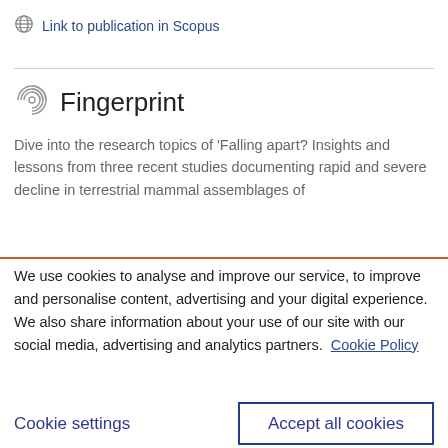Link to publication in Scopus
Fingerprint
Dive into the research topics of 'Falling apart? Insights and lessons from three recent studies documenting rapid and severe decline in terrestrial mammal assemblages of
We use cookies to analyse and improve our service, to improve and personalise content, advertising and your digital experience. We also share information about your use of our site with our social media, advertising and analytics partners.  Cookie Policy
Cookie settings
Accept all cookies